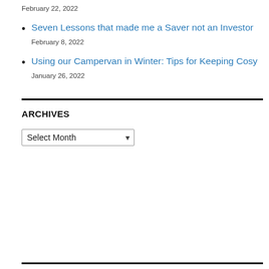February 22, 2022
Seven Lessons that made me a Saver not an Investor
February 8, 2022
Using our Campervan in Winter: Tips for Keeping Cosy
January 26, 2022
ARCHIVES
Select Month